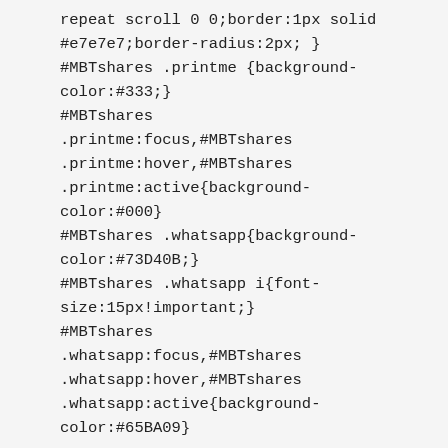repeat scroll 0 0;border:1px solid #e7e7e7;border-radius:2px; }
#MBTshares .printme {background-color:#333;}
#MBTshares
.printme:focus,#MBTshares
.printme:hover,#MBTshares
.printme:active{background-color:#000}
#MBTshares .whatsapp{background-color:#73D40B;}
#MBTshares .whatsapp i{font-size:15px!important;}
#MBTshares
.whatsapp:focus,#MBTshares
.whatsapp:hover,#MBTshares
.whatsapp:active{background-color:#65BA09}